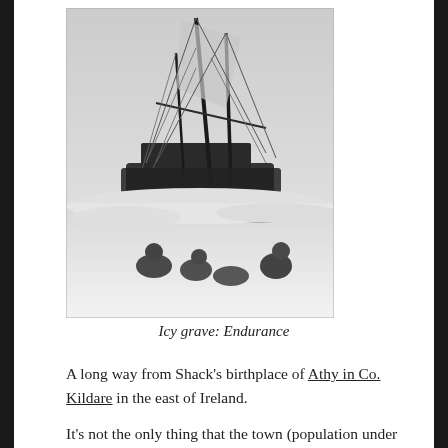[Figure (photo): Black and white photograph of the ship Endurance wrecked and tilted in snow and ice, with masts and rigging visible, and several crew members crouching in the foreground on the ice.]
Icy grave: Endurance
A long way from Shack's birthplace of Athy in Co. Kildare in the east of Ireland.
It's not the only thing that the town (population under 10,000